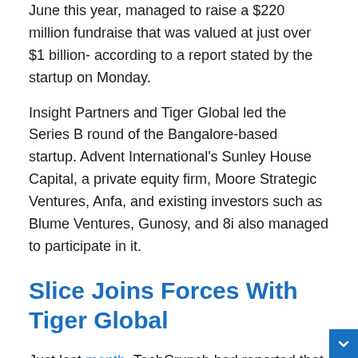June this year, managed to raise a $220 million fundraise that was valued at just over $1 billion- according to a report stated by the startup on Monday.
Insight Partners and Tiger Global led the Series B round of the Bangalore-based startup. Advent International's Sunley House Capital, a private equity firm, Moore Strategic Ventures, Anfa, and existing investors such as Blume Ventures, Gunosy, and 8i also managed to participate in it.
Slice Joins Forces With Tiger Global
Just last month, TechCrunch had reported that Insight Global and Tiger Global were in talks to sponsor Slice. A source close to the matter informed TechCrunch that the round could definitely move up to $250 million.